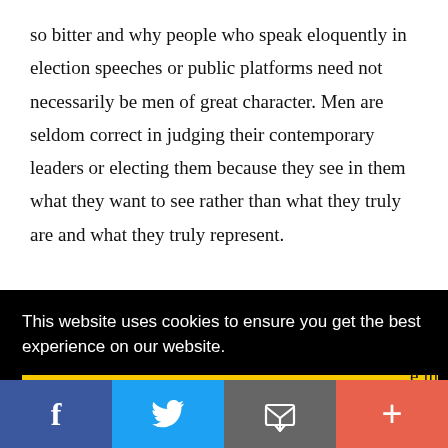so bitter and why people who speak eloquently in election speeches or public platforms need not necessarily be men of great character. Men are seldom correct in judging their contemporary leaders or electing them because they see in them what they want to see rather than what they truly are and what they truly represent.
This website uses cookies to ensure you get the best experience on our website.
Got it!
e in
[Figure (other): Social sharing bar with four buttons: Facebook (blue), Twitter (light blue), Email/share (gray), and More/plus (coral/red-orange)]